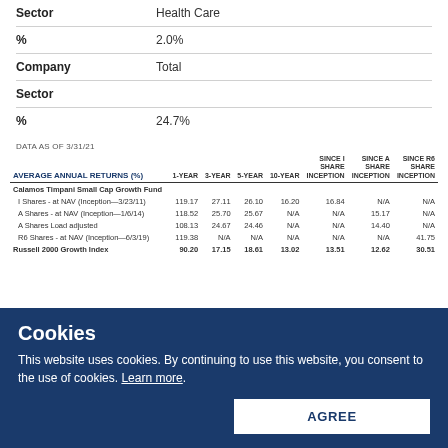|  |  |
| --- | --- |
| Sector | Health Care |
| % | 2.0% |
| Company | Total |
| Sector |  |
| % | 24.7% |
DATA AS OF 3/31/21
| AVERAGE ANNUAL RETURNS (%) | 1-YEAR | 3-YEAR | 5-YEAR | 10-YEAR | SINCE I SHARE INCEPTION | SINCE A SHARE INCEPTION | SINCE R6 SHARE INCEPTION |
| --- | --- | --- | --- | --- | --- | --- | --- |
| Calamos Timpani Small Cap Growth Fund |  |  |  |  |  |  |  |
| I Shares - at NAV (Inception—3/23/11) | 119.17 | 27.11 | 26.10 | 16.20 | 16.84 | N/A | N/A |
| A Shares - at NAV (Inception—1/6/14) | 118.52 | 25.70 | 25.67 | N/A | N/A | 15.17 | N/A |
| A Shares Load adjusted | 108.13 | 24.67 | 24.46 | N/A | N/A | 14.40 | N/A |
| R6 Shares - at NAV (Inception—6/3/19) | 119.38 | N/A | N/A | N/A | N/A | N/A | 41.75 |
| Russell 2000 Growth Index | 90.20 | 17.15 | 18.61 | 13.02 | 13.51 | 12.62 | 30.51 |
Cookies
This website uses cookies. By continuing to use this website, you consent to the use of cookies. Learn more.
AGREE